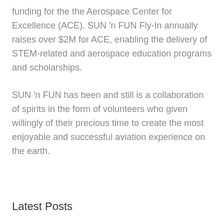funding for the the Aerospace Center for Excellence (ACE). SUN 'n FUN Fly-In annually raises over $2M for ACE, enabling the delivery of STEM-related and aerospace education programs and scholarships.
SUN 'n FUN has been and still is a collaboration of spirits in the form of volunteers who given willingly of their precious time to create the most enjoyable and successful aviation experience on the earth.
Latest Posts